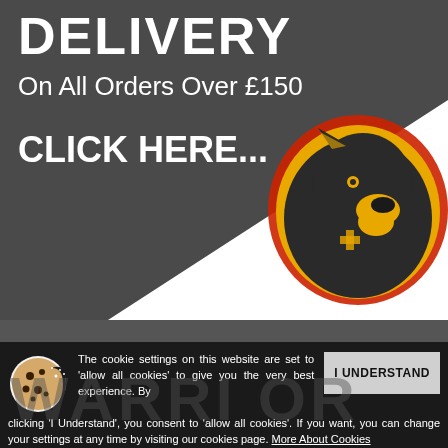DELIVERY
On All Orders Over £150
CLICK HERE...
[Figure (logo): Lion mascot logo with yellow and red outline on dark background]
The cookie settings on this website are set to 'allow all cookies' to give you the very best experience. By clicking 'I Understand', you consent to 'allow all cookies'. If you want, you can change your settings at any time by visiting our cookies page. More About Cookies